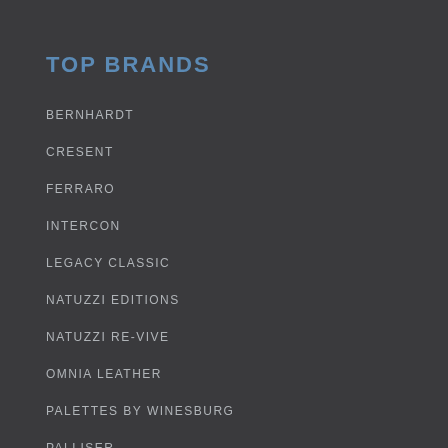TOP BRANDS
BERNHARDT
CRESENT
FERRARO
INTERCON
LEGACY CLASSIC
NATUZZI EDITIONS
NATUZZI RE-VIVE
OMNIA LEATHER
PALETTES BY WINESBURG
PALLISER